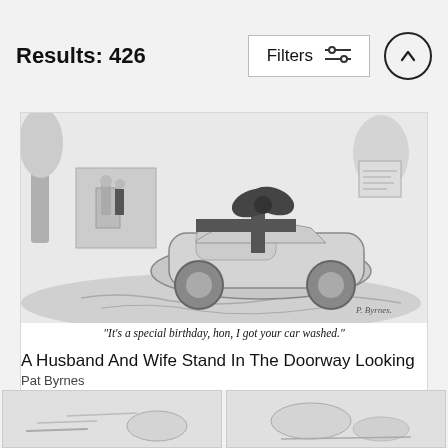Results: 426
[Figure (illustration): A New Yorker-style pencil cartoon showing a car wrapped with a large ribbon bow on top, parked on a stone driveway. A husband and wife stand in the doorway in the background. Artist signature reads 'P. Byrnes'. Caption below reads: "It's a special birthday, hon, I got your car washed."]
"It's a special birthday, hon, I got your car washed."
A Husband And Wife Stand In The Doorway Looking
Pat Byrnes
$100
[Figure (illustration): Partial thumbnail of a cartoon at bottom left]
[Figure (illustration): Partial thumbnail of a cartoon at bottom right]